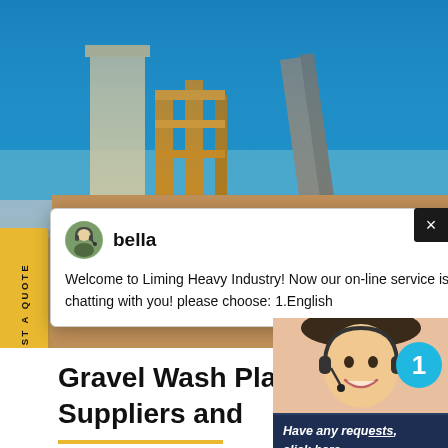[Figure (photo): Aerial/ground view of industrial gravel wash plant facility with yellow scaffolding structures, blue sky background, and sandy/gravel ground in lower portion. Shows construction/mining equipment and conveyors.]
REQUEST A QUOTE
[Figure (screenshot): Chat popup from 'bella' avatar: 'Welcome to Liming Heavy Industry! Now our on-line service is chatting with you! please choose: 1.English']
[Figure (photo): Customer service agent photo (woman with headset) with blue notification circle showing '1', dark navy panel with text 'Have any requests, click here.' and orange Quotation button.]
Gravel Wash Plant, Gravel Wash Plant Suppliers and
Have any requests, click here.
Quotation